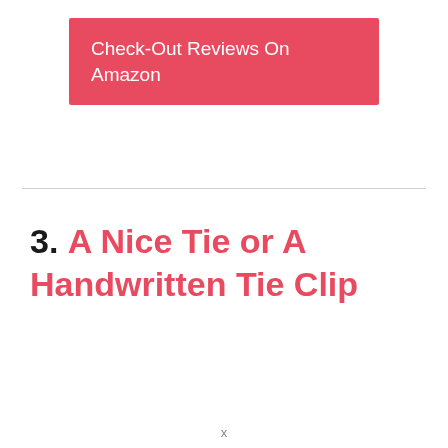[Figure (other): Red button/banner with white text reading 'Check-Out Reviews On Amazon']
3. A Nice Tie or A Handwritten Tie Clip
x